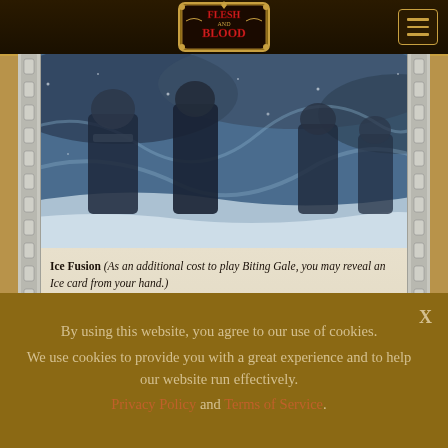[Figure (screenshot): Flesh and Blood trading card game website screenshot showing a game card with arctic/winter battle scene artwork, Nordic-style border decorations, and card text about Ice Fusion mechanic]
Flesh and Blood (logo navigation bar with hamburger menu)
Ice Fusion (As an additional cost to play Biting Gale, you may reveal an Ice card from your hand.)
If Biting Gale was fused, the attacking hero discards a card unless they pay [pip][pip].
By using this website, you agree to our use of cookies. We use cookies to provide you with a great experience and to help our website run effectively. Privacy Policy and Terms of Service.